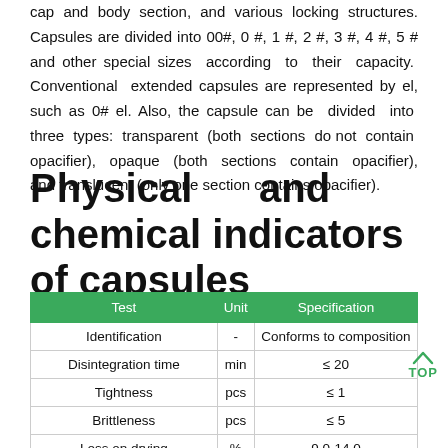cap and body section, and various locking structures. Capsules are divided into 00#, 0 #, 1 #, 2 #, 3 #, 4 #, 5 # and other special sizes according to their capacity. Conventional extended capsules are represented by el, such as 0# el. Also, the capsule can be divided into three types: transparent (both sections do not contain opacifier), opaque (both sections contain opacifier), and translucent (only one section contains opacifier).
Physical and chemical indicators of capsules
| Test | Unit | Specification |
| --- | --- | --- |
| Identification | - | Conforms to composition |
| Disintegration time | min | ≤ 20 |
| Tightness | pcs | ≤ 1 |
| Brittleness | pcs | ≤ 5 |
| Loss on drying | % | 9.0-14.0 |
| Ignition residue (transparent) | % | ≤ 2.0 |
| Ignition residue (translucent) | % | ≤ 3.0 |